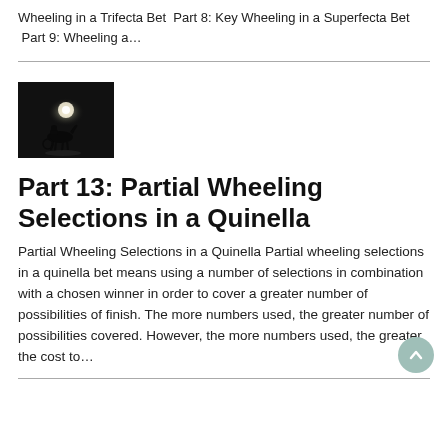Wheeling in a Trifecta Bet  Part 8: Key Wheeling in a Superfecta Bet  Part 9: Wheeling a…
[Figure (photo): Dark silhouette of a horse and jockey/driver in foggy conditions with a bright light behind them, black and white photo]
Part 13: Partial Wheeling Selections in a Quinella
Partial Wheeling Selections in a Quinella Partial wheeling selections in a quinella bet means using a number of selections in combination with a chosen winner in order to cover a greater number of possibilities of finish. The more numbers used, the greater number of possibilities covered. However, the more numbers used, the greater the cost to…